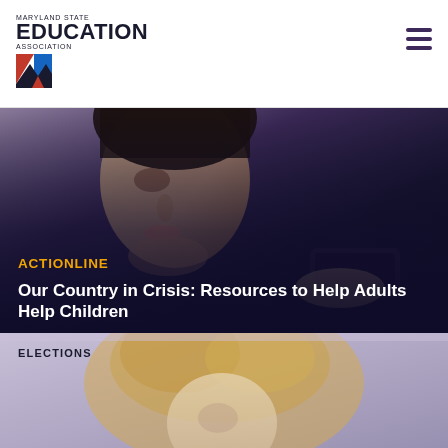Maryland State Education Association
[Figure (photo): Close-up photo of a young boy's face looking downward, set against a dark navy/purple background, likely looking at a device. The image fades into a dark overlay at the bottom.]
ACTIONLINE
Our Country in Crisis: Resources to Help Adults Help Children
[Figure (photo): Photo of a blonde woman/person, partially visible, over a muted gray-purple background. The card is labeled ELECTIONS at the top left.]
ELECTIONS